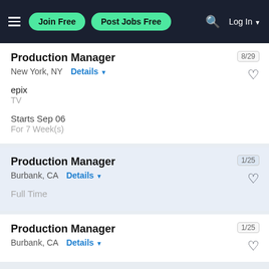Join Free | Post Jobs Free | Log In
Production Manager
New York, NY  Details
epix
TV
Starts Sep 06
For 7 Week(s)
8/29
Production Manager
Burbank, CA  Details
Full Time
1/25
Production Manager
Burbank, CA  Details
1/25